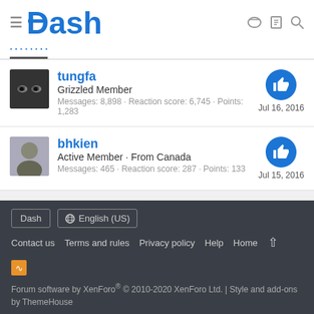Dash
tungfa — Grizzled Member — Messages: 8,898 · Reaction score: 6,745 · Points: 1,283 — Jul 16, 2016
bhkien — Active Member · From Canada — Messages: 465 · Reaction score: 287 · Points: 133 — Jul 15, 2016
Dash | English (US) | Contact us | Terms and rules | Privacy policy | Help | Home | Forum software by XenForo® © 2010-2020 XenForo Ltd. | Style and add-ons by ThemeHouse